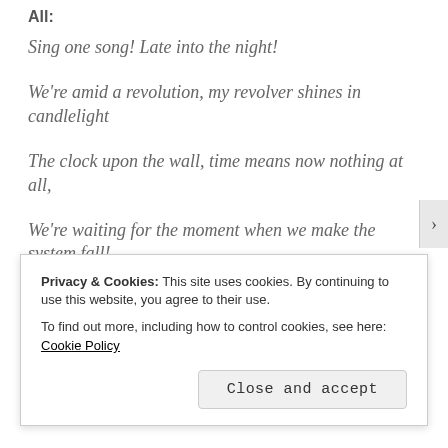All:
Sing one song! Late into the night!
We're amid a revolution, my revolver shines in candlelight
The clock upon the wall, time means now nothing at all,
We're waiting for the moment when we make the system fall!
Dastardly were the deeds of our fathers! Blat!
So arcane and so lacking of moral substance! Blat!
Privacy & Cookies: This site uses cookies. By continuing to use this website, you agree to their use.
To find out more, including how to control cookies, see here: Cookie Policy
Close and accept